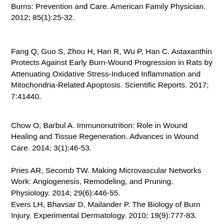Burns: Prevention and Care. American Family Physician. 2012; 85(1):25-32.
Fang Q, Guo S, Zhou H, Han R, Wu P, Han C. Astaxanthin Protects Against Early Burn-Wound Progression in Rats by Attenuating Oxidative Stress-Induced Inflammation and Mitochondria-Related Apoptosis. Scientific Reports. 2017; 7:41440.
Chow O, Barbul A. Immunonutrition: Role in Wound Healing and Tissue Regeneration. Advances in Wound Care. 2014; 3(1):46-53.
Pries AR, Secomb TW. Making Microvascular Networks Work: Angiogenesis, Remodeling, and Pruning. Physiology. 2014; 29(6):446-55.
Evers LH, Bhavsar D, Mailander P. The Biology of Burn Injury. Experimental Dermatology. 2010; 19(9):777-83.